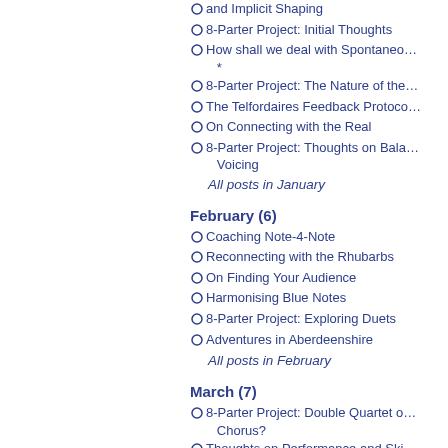and Implicit Shaping
8-Parter Project: Initial Thoughts
How shall we deal with Spontaneo… *
8-Parter Project: The Nature of the…
The Telfordaires Feedback Protoco…
On Connecting with the Real
8-Parter Project: Thoughts on Bala… Voicing
All posts in January
February (6)
Coaching Note-4-Note
Reconnecting with the Rhubarbs
On Finding Your Audience
Harmonising Blue Notes
8-Parter Project: Exploring Duets
Adventures in Aberdeenshire
All posts in February
March (7)
8-Parter Project: Double Quartet o… Chorus?
Thoughts on Performance and Ski… Development
8-Parter Project: The Cost-per-We…
Remote Rehearsing for a Time of… Distancing
Remote Rehearsing: Initial Impres…
On Surface Over-Compensating